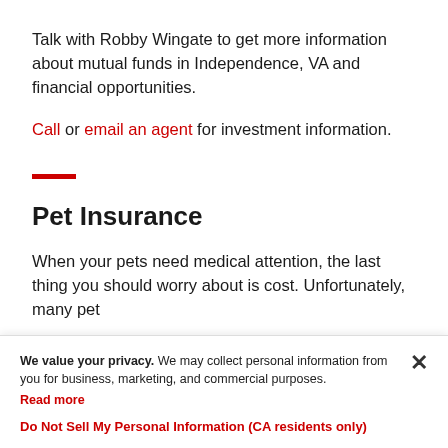Talk with Robby Wingate to get more information about mutual funds in Independence, VA and financial opportunities.
Call or email an agent for investment information.
Pet Insurance
When your pets need medical attention, the last thing you should worry about is cost. Unfortunately, many pet
We value your privacy. We may collect personal information from you for business, marketing, and commercial purposes. Read more
Do Not Sell My Personal Information (CA residents only)